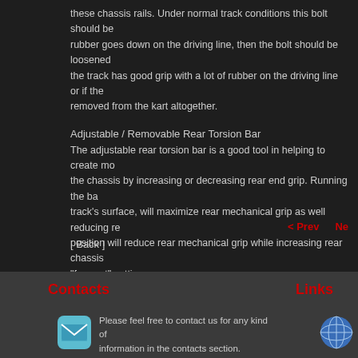these chassis rails. Under normal track conditions this bolt should be... rubber goes down on the driving line, then the bolt should be loosened... the track has good grip with a lot of rubber on the driving line or if the... removed from the kart altogether.
Adjustable / Removable Rear Torsion Bar
The adjustable rear torsion bar is a good tool in helping to create more... the chassis by increasing or decreasing rear end grip. Running the bar... track's surface, will maximize rear mechanical grip as well reducing rear... position will reduce rear mechanical grip while increasing rear chassis... "free-est" setting.
< Prev
Ne...
[ Back ]
Contacts
Links
Please feel free to contact us for any kind of information in the contacts section.